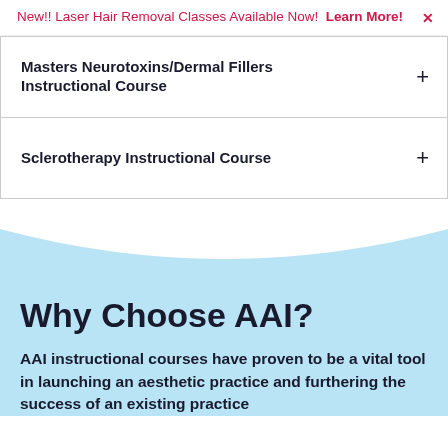New!! Laser Hair Removal Classes Available Now! Learn More!
Masters Neurotoxins/Dermal Fillers Instructional Course
Sclerotherapy Instructional Course
Why Choose AAI?
AAI instructional courses have proven to be a vital tool in launching an aesthetic practice and furthering the success of an existing practice for the more than 10,000 students who have